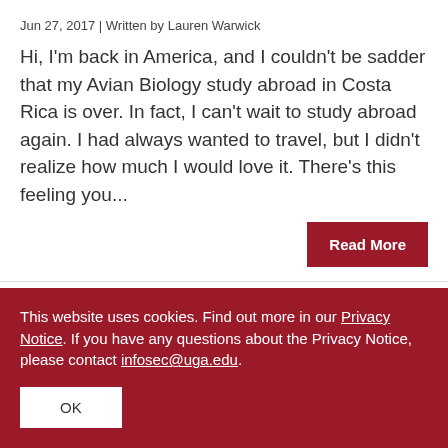Jun 27, 2017 | Written by Lauren Warwick
Hi, I'm back in America, and I couldn't be sadder that my Avian Biology study abroad in Costa Rica is over. In fact, I can't wait to study abroad again. I had always wanted to travel, but I didn't realize how much I would love it. There's this feeling you...
Read More
Posted in Avian Biology, Costa Rica, Faculty-led, Maymester, Uncategorized.
This website uses cookies. Find out more in our Privacy Notice. If you have any questions about the Privacy Notice, please contact infosec@uga.edu.
OK